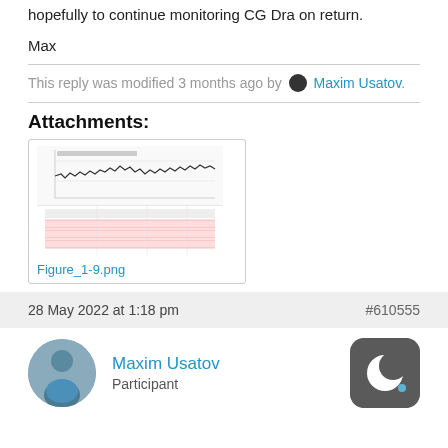hopefully to continue monitoring CG Dra on return.
Max
This reply was modified 3 months ago by Maxim Usatov.
Attachments:
[Figure (screenshot): Thumbnail of Figure_1-9.png showing a light curve plot with a wiggly line and a table with red-highlighted rows below.]
Figure_1-9.png
28 May 2022 at 1:18 pm
#610555
Maxim Usatov
Participant